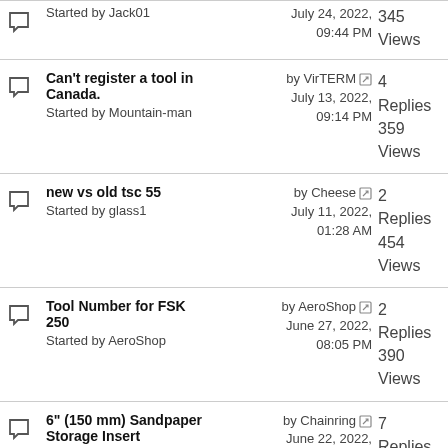Started by Jack01 | by VirTERM | July 24, 2022, 09:44 PM | 345 Views
Can't register a tool in Canada. Started by Mountain-man | by VirTERM | July 13, 2022, 09:14 PM | 4 Replies 359 Views
new vs old tsc 55 Started by glass1 | by Cheese | July 11, 2022, 01:28 AM | 2 Replies 454 Views
Tool Number for FSK 250 Started by AeroShop | by AeroShop | June 27, 2022, 08:05 PM | 2 Replies 390 Views
6" (150 mm) Sandpaper Storage Insert Started by grbmds | by Chainring | June 22, 2022, 06:23 PM | 7 Replies 586 Views